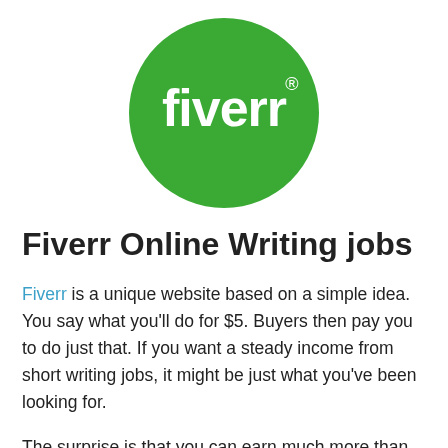[Figure (logo): Fiverr logo: green circle with white bold text 'fiverr' and registered trademark symbol]
Fiverr Online Writing jobs
Fiverr is a unique website based on a simple idea. You say what you'll do for $5. Buyers then pay you to do just that. If you want a steady income from short writing jobs, it might be just what you've been looking for.
The surprise is that you can earn much more than $5 per task.